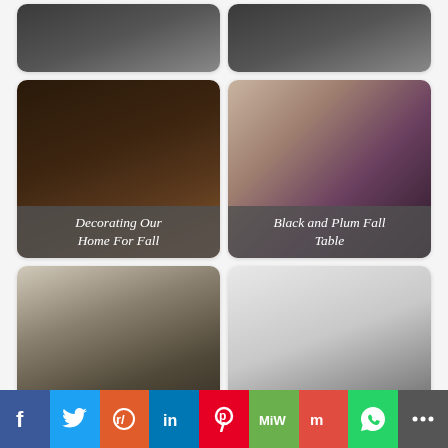[Figure (photo): Partial top row showing two cropped image cards from previous section]
[Figure (photo): Dark living room with leather sofa decorated for fall, labeled 'Decorating Our Home For Fall']
[Figure (photo): Black and plum fall table setting from above, labeled 'Black and Plum Fall Table']
[Figure (photo): Outdoor living room with fireplace and floral accents, labeled 'Outdoor Fall Decor']
[Figure (photo): Bright white modern living room with earth tones, labeled 'Fall Home Tour Using Earth Tones']
[Figure (photo): Partially visible bottom-left image card]
[Figure (photo): Partially visible bottom-right image card with basket and orange items]